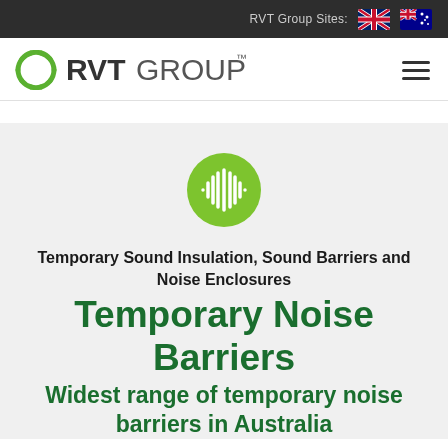RVT Group Sites:
[Figure (logo): RVT Group logo with green circular icon and bold RVT GROUP text]
[Figure (logo): Green circular sound wave icon]
Temporary Sound Insulation, Sound Barriers and Noise Enclosures
Temporary Noise Barriers
Widest range of temporary noise barriers in Australia